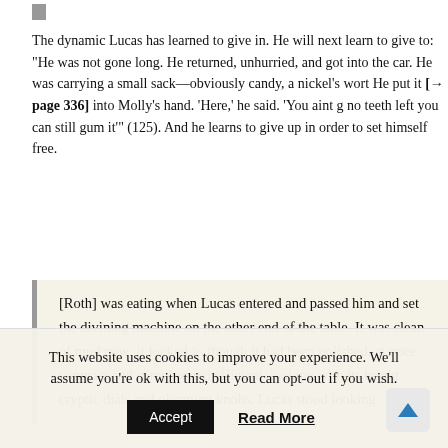The dynamic Lucas has learned to give in. He will next learn to give to: "He was not gone long. He returned, unhurried, and got into the car. He was carrying a small sack—obviously candy, a nickel's worth. He put it [→ page 336] into Molly's hand. 'Here,' he said. 'You aint got no teeth left you can still gum it'" (125). And he learns to give up in order to set himself free.
[Roth] was eating when Lucas entered and passed him and set the divining machine on the other end of the table. It was clean of mud now; it looked as though it had been polished, at once compact and complex and efficient–looking with its bright cryptic dials and gleaming knobs. Lucas stood looking
This website uses cookies to improve your experience. We'll assume you're ok with this, but you can opt-out if you wish.